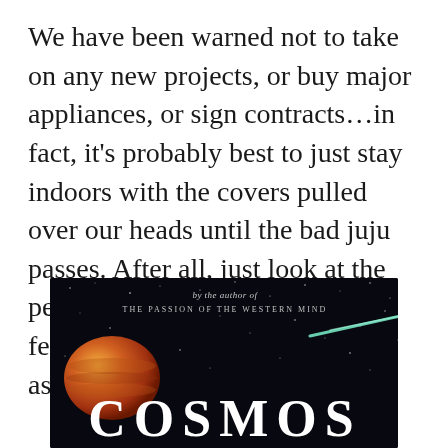We have been warned not to take on any new projects, or buy major appliances, or sign contracts...in fact, it's probably best to just stay indoors with the covers pulled over our heads until the bad juju passes. After all, just look at the people we know who have been felled by the mighty gods of astrology.
[Figure (photo): Book cover of 'Cosmos' on a dark starfield background, with text 'by the author of THE PASSION OF THE WESTERN MIND' at the top, a Jupiter-like planet on the left, a comet streak across the upper right, and the large title 'COSMOS' in white serif letters at the bottom.]